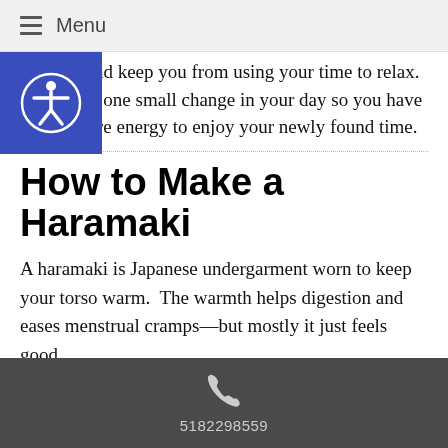Menu
that slot and keep you from using your time to relax. And make one small change in your day so you have a little more energy to enjoy your newly found time.
How to Make a Haramaki
A haramaki is Japanese undergarment worn to keep your torso warm. The warmth helps digestion and eases menstrual cramps—but mostly it just feels good.
Choose soft, knit fabric. If possible, pick a natural fiber like cotton or light wool.
These instructions use a ½” seam allowance. The
5182298559